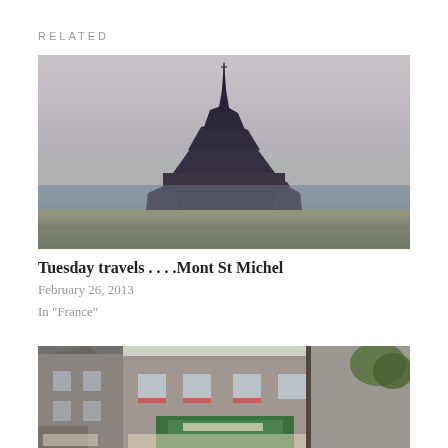RELATED
[Figure (photo): Mont Saint-Michel island monastery at dusk, seen from a distance across tidal flats with grey sky]
Tuesday travels . . . .Mont St Michel
February 26, 2013
In "France"
[Figure (photo): Street view of a French town with stone buildings, shop signs including a green-fronted store, and a tree on the right]